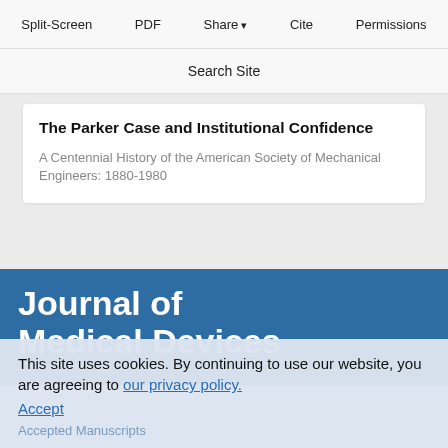Split-Screen  PDF  Share  Cite  Permissions
Search Site
The Parker Case and Institutional Confidence
A Centennial History of the American Society of Mechanical Engineers: 1880-1980
Journal of Medical Devices
This site uses cookies. By continuing to use our website, you are agreeing to our privacy policy. Accept
Accepted Manuscripts